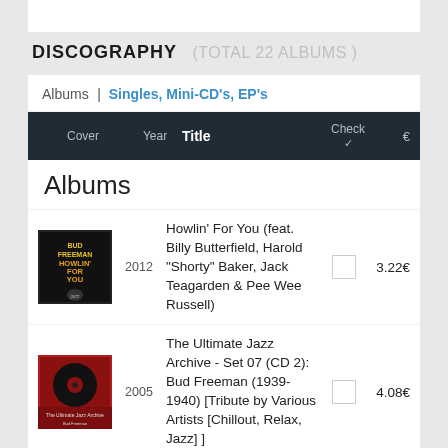DISCOGRAPHY (TOTAL 22 ALBUMS )
Albums | Singles, Mini-CD's, EP's
| Cover | Year | Title | Check | € |
| --- | --- | --- | --- | --- |
| [image] | 2012 | Howlin' For You (feat. Billy Butterfield, Harold "Shorty" Baker, Jack Teagarden & Pee Wee Russell) | ☐ | 3.22€ |
| [image] | 2005 | The Ultimate Jazz Archive - Set 07 (CD 2): Bud Freeman (1939-1940) [Tribute by Various Artists [Chillout, Relax, Jazz] ] | ☐ | 4.08€ |
| [image] | 2002 | The Alternative Takes In Chronological Order | ☐ | 4.04€ |
| [image] |  |  |  |  |